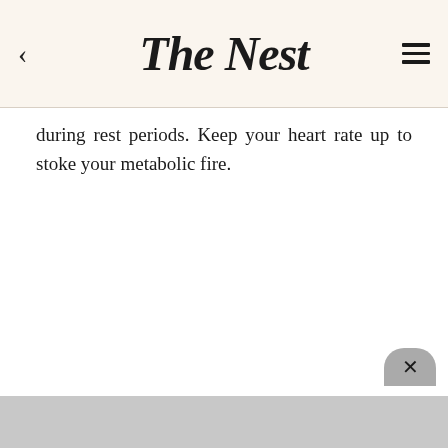The Nest
during rest periods. Keep your heart rate up to stoke your metabolic fire.